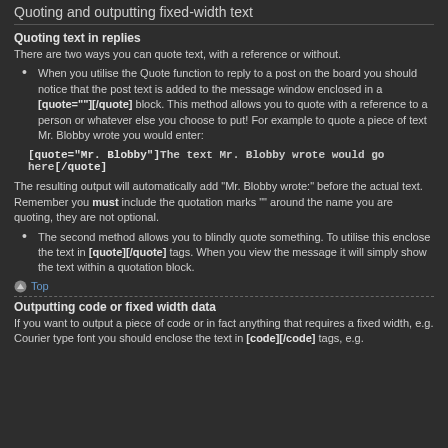Quoting and outputting fixed-width text
Quoting text in replies
There are two ways you can quote text, with a reference or without.
When you utilise the Quote function to reply to a post on the board you should notice that the post text is added to the message window enclosed in a [quote=""][/quote] block. This method allows you to quote with a reference to a person or whatever else you choose to put! For example to quote a piece of text Mr. Blobby wrote you would enter:
[quote="Mr. Blobby"]The text Mr. Blobby wrote would go here[/quote]
The resulting output will automatically add "Mr. Blobby wrote:" before the actual text. Remember you must include the quotation marks "" around the name you are quoting, they are not optional.
The second method allows you to blindly quote something. To utilise this enclose the text in [quote][/quote] tags. When you view the message it will simply show the text within a quotation block.
Top
Outputting code or fixed width data
If you want to output a piece of code or in fact anything that requires a fixed width, e.g. Courier type font you should enclose the text in [code][/code] tags, e.g.